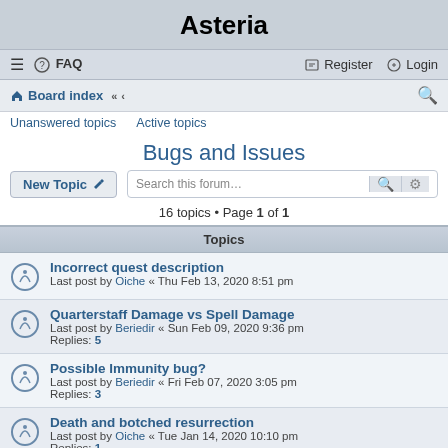Asteria
≡ FAQ | Register Login
Board index « « [search icon]
Unanswered topics   Active topics
Bugs and Issues
16 topics • Page 1 of 1
| Topics |
| --- |
| Incorrect quest description
Last post by Oiche « Thu Feb 13, 2020 8:51 pm |
| Quarterstaff Damage vs Spell Damage
Last post by Beriedir « Sun Feb 09, 2020 9:36 pm
Replies: 5 |
| Possible Immunity bug?
Last post by Beriedir « Fri Feb 07, 2020 3:05 pm
Replies: 3 |
| Death and botched resurrection
Last post by Oiche « Tue Jan 14, 2020 10:10 pm
Replies: 1 |
| Vault Full Bug
Last post by Beriedir « Sun Jan 05, 2020 8:29 pm
Replies: 1 |